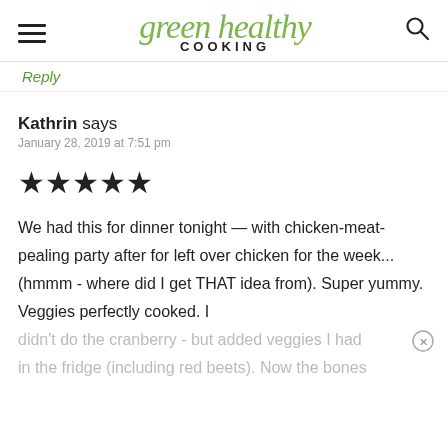green healthy COOKING
Reply
Kathrin says
January 28, 2019 at 7:51 pm
[Figure (other): Five filled star rating icons]
We had this for dinner tonight — with chicken-meat-pealing party after for left over chicken for the week... (hmmm - where did I get THAT idea from). Super yummy. Veggies perfectly cooked. I didn't do the cranberry - but added veggies I had in the fridge (including red beets). Now the bones